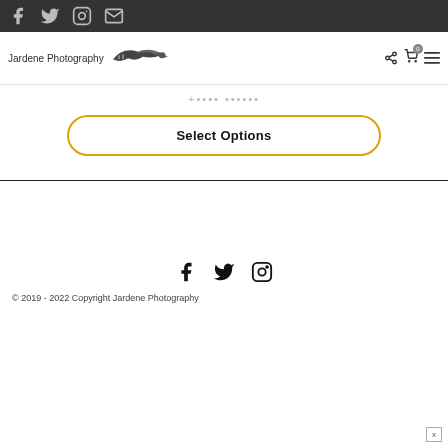Social media icons: Facebook, Twitter, Instagram, Email
[Figure (logo): Jardene Photography logo with eagle/film wing graphic]
Select Options button
Select Options
[Figure (illustration): Footer social icons: Facebook, Twitter, Instagram]
© 2019 - 2022 Copyright Jardene Photography